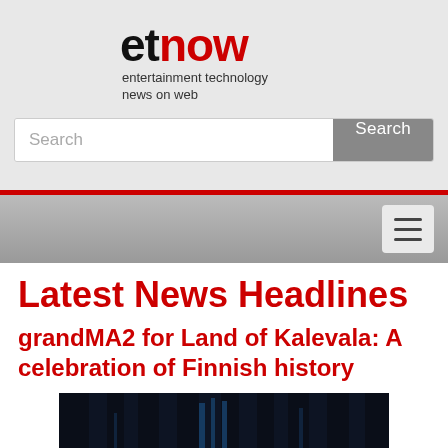[Figure (logo): etnow logo with red stars circle and text 'entertainment technology news on web']
Search
[Figure (screenshot): Navigation bar with hamburger menu button]
Latest News Headlines
grandMA2 for Land of Kalevala: A celebration of Finnish history
[Figure (photo): Dark stage lighting photo for grandMA2 Land of Kalevala article]